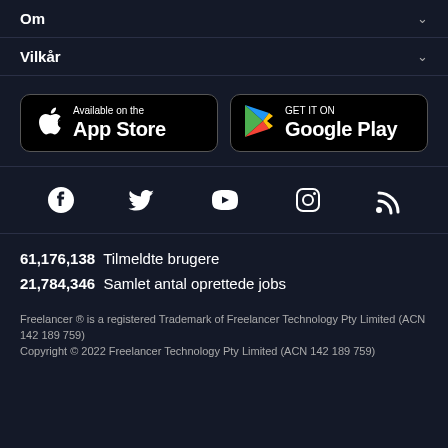Om
Vilkår
[Figure (other): App Store and Google Play download badges]
[Figure (other): Social media icons: Facebook, Twitter, YouTube, Instagram, RSS]
61,176,138  Tilmeldte brugere
21,784,346  Samlet antal oprettede jobs
Freelancer ® is a registered Trademark of Freelancer Technology Pty Limited (ACN 142 189 759)
Copyright © 2022 Freelancer Technology Pty Limited (ACN 142 189 759)